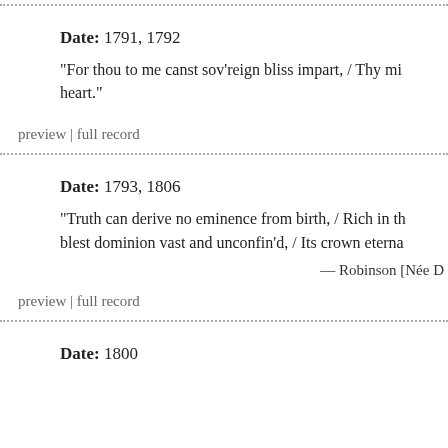Date: 1791, 1792
"For thou to me canst sov'reign bliss impart, / Thy mi... heart."
preview | full record
Date: 1793, 1806
"Truth can derive no eminence from birth, / Rich in th... blest dominion vast and unconfin'd, / Its crown eterna..."
— Robinson [Née D...
preview | full record
Date: 1800